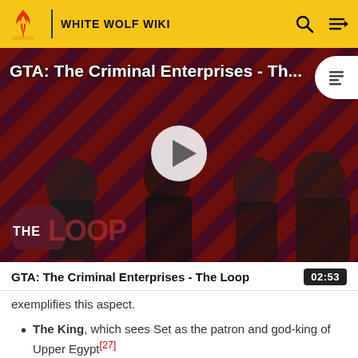WHITE WOLF WIKI
[Figure (screenshot): Video thumbnail for 'GTA: The Criminal Enterprises - Th...' showing video game characters on a diagonal stripe background with a play button and 'THE LOOP' branding overlay]
GTA: The Criminal Enterprises - The Loop  02:53
exemplifies this aspect.
The King, which sees Set as the patron and god-king of Upper Egypt[27]